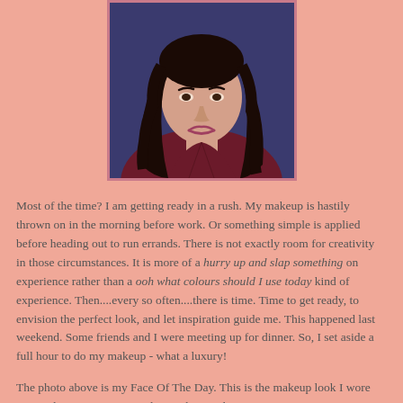[Figure (photo): A young woman with long dark wavy hair wearing a dark red/burgundy top and a silver necklace, photographed against a blue-purple background.]
Most of the time? I am getting ready in a rush. My makeup is hastily thrown on in the morning before work. Or something simple is applied before heading out to run errands. There is not exactly room for creativity in those circumstances. It is more of a hurry up and slap something on experience rather than a ooh what colours should I use today kind of experience. Then....every so often....there is time. Time to get ready, to envision the perfect look, and let inspiration guide me. This happened last weekend. Some friends and I were meeting up for dinner. So, I set aside a full hour to do my makeup - what a luxury!
The photo above is my Face Of The Day. This is the makeup look I wore out on that evening. I paired wavy hair with a rust